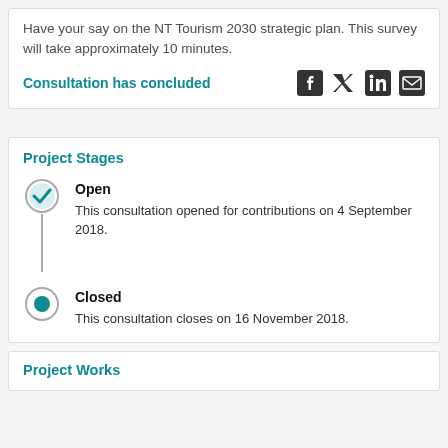Have your say on the NT Tourism 2030 strategic plan. This survey will take approximately 10 minutes.
Consultation has concluded
Project Stages
Open
This consultation opened for contributions on 4 September 2018.
Closed
This consultation closes on 16 November 2018.
Project Works